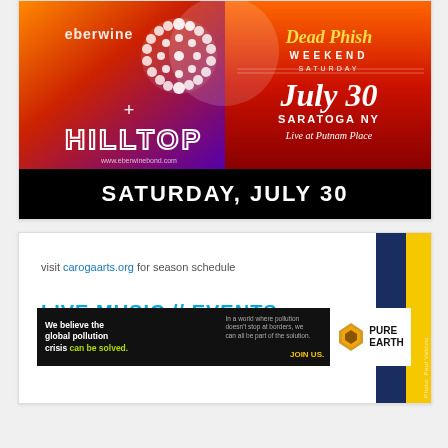[Figure (illustration): Event poster for eberwine + Hilltop band at Dead Phish Weekend, Saturday July 30, Saratoga NY, Live at Putnam Place. Colorful gradient background with orange/red/purple. Text: SATURDAY, JULY 30 on black banner at bottom.]
[Figure (illustration): Caroga Arts banner showing 'visit carogaarts.org for season schedule' with 'LIVE MUSIC // EVENTS' text and a photo strip on the right side.]
[Figure (other): Pure Earth advertisement: 'We believe the global pollution crisis can be solved.' with 'In a world where pollution doesn't stop at borders, we can all be part of the solution. JOIN US.' and Pure Earth logo.]